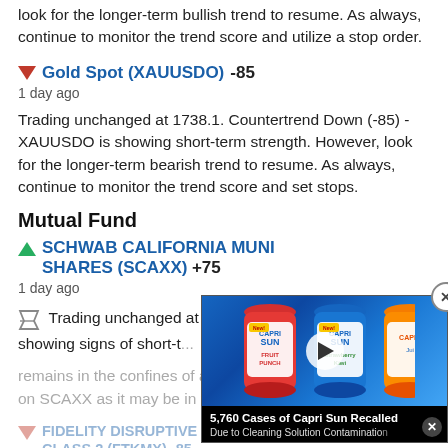look for the longer-term bullish trend to resume. As always, continue to monitor the trend score and utilize a stop order.
▼ Gold Spot (XAUUSDO) -85
1 day ago
Trading unchanged at 1738.1. Countertrend Down (-85) - XAUUSDO is showing short-term strength. However, look for the longer-term bearish trend to resume. As always, continue to monitor the trend score and set stops.
Mutual Fund
▲ SCHWAB CALIFORNIA MUNI SHARES (SCAXX) +75
1 day ago
Trading unchanged at 1.41. Bull M... SCAXX is showing signs of short-t... remains in the confines of a long-term uptrend. Keep an eye on SCAXX as it may be in the beginning stages of a reversa
[Figure (screenshot): Advertisement overlay showing Capri Sun juice bags with a video play button and text '5,760 Cases of Capri Sun Recalled Due to Cleaning Solution Contamination']
▼ FIDELITY DISRUPTIVE TECHNOLOGY FUND – LOY CLASS 2 (FTKMX) -85